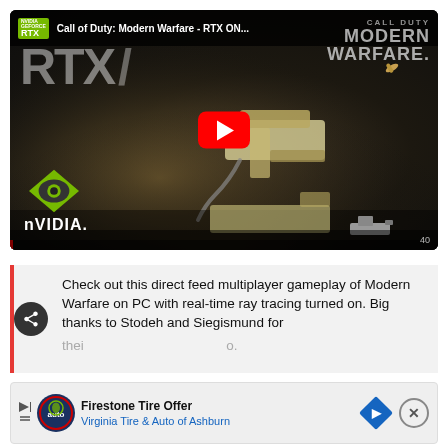[Figure (screenshot): YouTube video thumbnail for 'Call of Duty: Modern Warfare - RTX ON...' showing NVIDIA GeForce RTX branding, Call of Duty: Modern Warfare logo, NVIDIA logo, a play button, and dark in-game scene with weapon and bullet casing.]
Check out this direct feed multiplayer gameplay of Modern Warfare on PC with real-time ray tracing turned on. Big thanks to Stodeh and Siegismund for their [content] for this video.
[Figure (screenshot): Advertisement banner for Firestone Tire Offer - Virginia Tire & Auto of Ashburn, with auto logo, text, blue diamond road sign, and close button.]